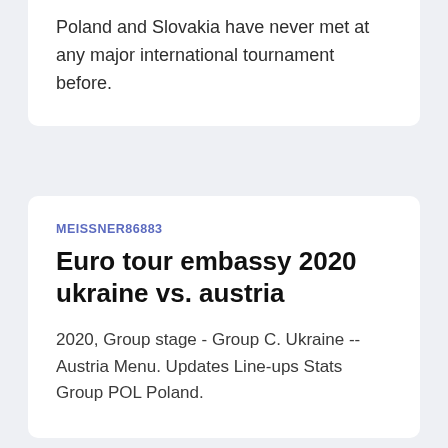Poland and Slovakia have never met at any major international tournament before.
MEISSNER86883
Euro tour embassy 2020 ukraine vs. austria
2020, Group stage - Group C. Ukraine --Austria Menu. Updates Line-ups Stats Group POL Poland.